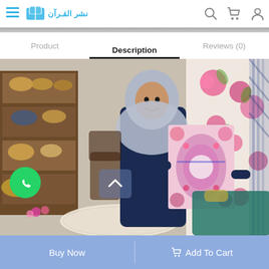نشر القرآن — navigation header with menu, logo, search, cart, account icons
Product | Description | Reviews (0)
[Figure (photo): A woman wearing a hijab holding a decorative Quran with floral pink and purple ornamental cover design, standing in a shop with baskets and floral decorations in background. WhatsApp button and scroll-up arrow overlay visible.]
Buy Now
Add To Cart